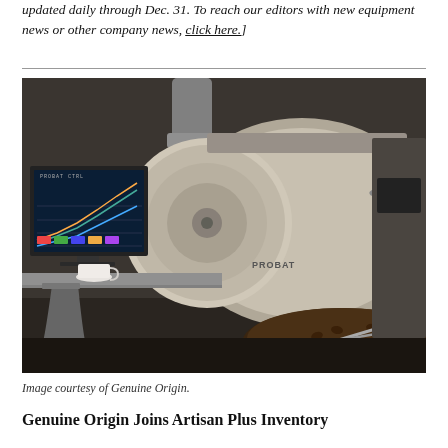updated daily through Dec. 31. To reach our editors with new equipment news or other company news, click here.]
[Figure (photo): A commercial coffee roasting machine (Probat brand) with a computer monitor displaying roast profile curves on the left, a white espresso cup on a metal shelf, and roasted coffee beans visible in a cooling tray at the bottom right.]
Image courtesy of Genuine Origin.
Genuine Origin Joins Artisan Plus Inventory